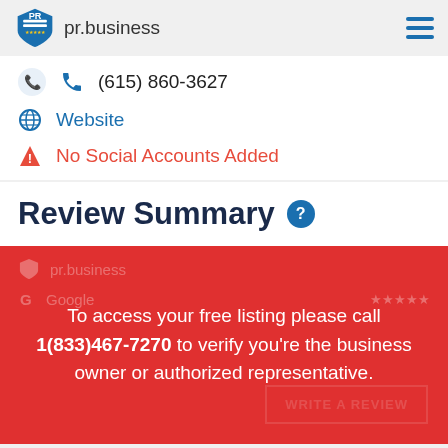pr.business
(615) 860-3627
Website
No Social Accounts Added
Review Summary
To access your free listing please call 1(833)467-7270 to verify you're the business owner or authorized representative.